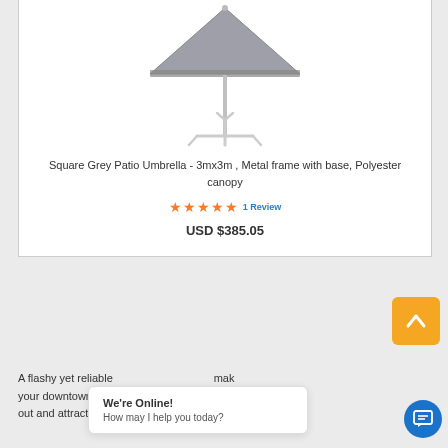[Figure (photo): Square grey patio umbrella with metal pole and cross base on white background]
Square Grey Patio Umbrella - 3mx3m , Metal frame with base, Polyester canopy
★★★★★ 1 Review
USD $385.05
A flashy yet reliable [obscured] mak your downtown bis[obscured] ta out and attract the a[obscured] s.
We're Online! How may I help you today?